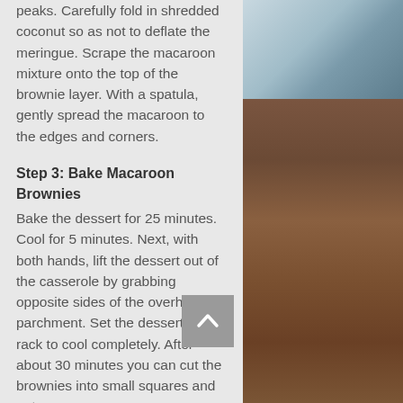peaks. Carefully fold in shredded coconut so as not to deflate the meringue. Scrape the macaroon mixture onto the top of the brownie layer. With a spatula, gently spread the macaroon to the edges and corners.
Step 3: Bake Macaroon Brownies
Bake the dessert for 25 minutes. Cool for 5 minutes. Next, with both hands, lift the dessert out of the casserole by grabbing opposite sides of the overhanging parchment. Set the dessert onto a rack to cool completely. After about 30 minutes you can cut the brownies into small squares and eat.
[Figure (photo): Photo of macaroon brownies — a close-up showing the textured coconut macaroon topping over brownie, with a blue surface visible at top.]